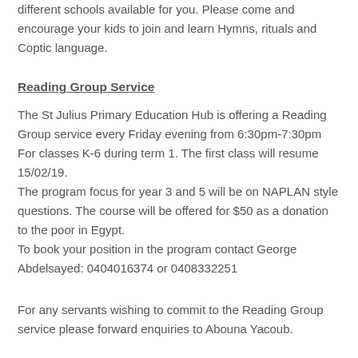different schools available for you. Please come and encourage your kids to join and learn Hymns, rituals and Coptic language.
Reading Group Service
The St Julius Primary Education Hub is offering a Reading Group service every Friday evening from 6:30pm-7:30pm For classes K-6 during term 1. The first class will resume 15/02/19.
The program focus for year 3 and 5 will be on NAPLAN style questions. The course will be offered for $50 as a donation to the poor in Egypt.
To book your position in the program contact George Abdelsayed: 0404016374 or 0408332251
For any servants wishing to commit to the Reading Group service please forward enquiries to Abouna Yacoub.